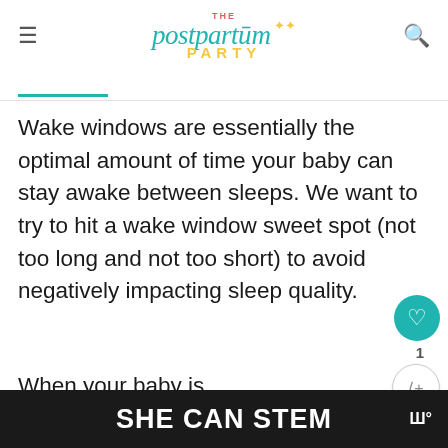THE postpartum PARTY
Wake windows are essentially the optimal amount of time your baby can stay awake between sleeps. We want to try to hit a wake window sweet spot (not too long and not too short) to avoid negatively impacting sleep quality.
When your baby is 9 months old, the recommended wake window is between 3-
[Figure (other): WHAT'S NEXT arrow label with thumbnail image and text 'How to Optimize Yo...']
SHE CAN STEM